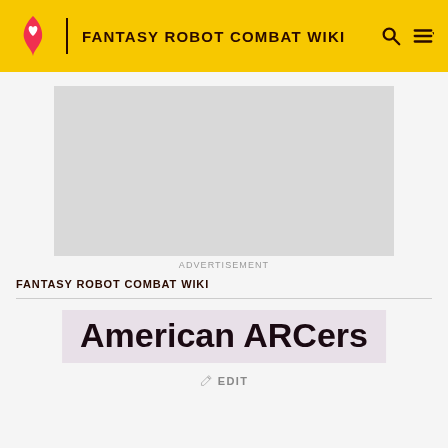FANTASY ROBOT COMBAT WIKI
[Figure (other): Advertisement placeholder box (gray rectangle)]
ADVERTISEMENT
FANTASY ROBOT COMBAT WIKI
American ARCers
✏ EDIT